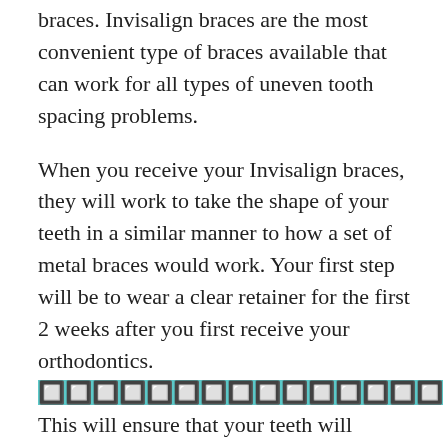braces. Invisalign braces are the most convenient type of braces available that can work for all types of uneven tooth spacing problems.
When you receive your Invisalign braces, they will work to take the shape of your teeth in a similar manner to how a set of metal braces would work. Your first step will be to wear a clear retainer for the first 2 weeks after you first receive your orthodontics. [highlighted link text] This will ensure that your teeth will gently push and pull your teeth into their proper position. Depending on your situation, you may need to wear a retainer unit at night approximately every night for the first few days.
Within a few days, you will befitted with your first set of Aligners. The Aligners are thin and come in a variety of different colors. Each set of aligners are worn for a period of two weeks. They are removed for eating, brushing, flossing and drinking. You will have an